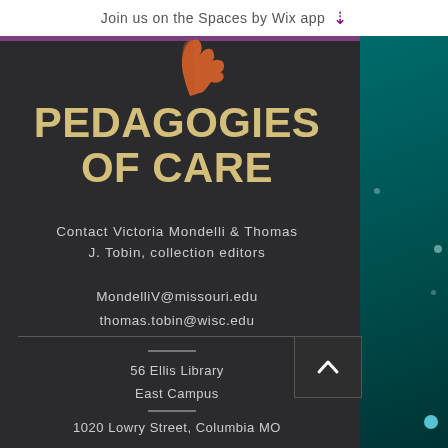Join us on the Spaces by Wix app
[Figure (illustration): Orange hand illustration (partial, cropped at top) against dark background]
PEDAGOGIES OF CARE
Contact Victoria Mondelli & Thomas J. Tobin, collection editors
MondelliV@missouri.edu
thomas.tobin@wisc.edu
56 Ellis Library
East Campus
1020 Lowry Street, Columbia MO